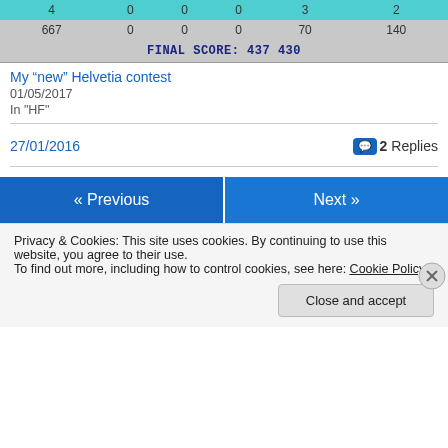| 4 | 0 | 0 | 0 | 3 | 2 |
| --- | --- | --- | --- | --- | --- |
| 667 | 0 | 0 | 0 | 70 | 140 |
|  | FINAL SCORE: 437 430 |  |  |  |  |
My “new” Helvetia contest
01/05/2017
In "HF"
27/01/2016
2 Replies
« Previous
Next »
Privacy & Cookies: This site uses cookies. By continuing to use this website, you agree to their use.
To find out more, including how to control cookies, see here: Cookie Policy
Close and accept